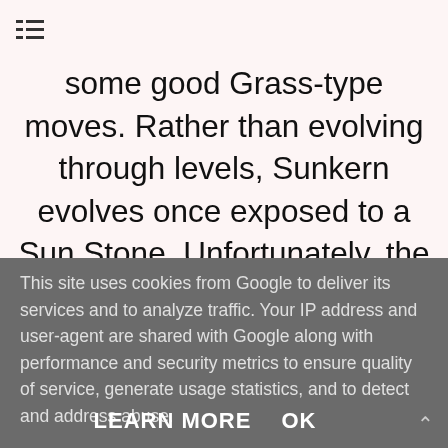[Figure (other): Hamburger/list menu icon in top left corner]
some good Grass-type moves. Rather than evolving through levels, Sunkern evolves once exposed to a Sun Stone. Unfortunately, the evolution is also a little anticlimatic and Sunflora is pretty offensively weak also, although makes for
This site uses cookies from Google to deliver its services and to analyze traffic. Your IP address and user-agent are shared with Google along with performance and security metrics to ensure quality of service, generate usage statistics, and to detect and address abuse.
LEARN MORE   OK